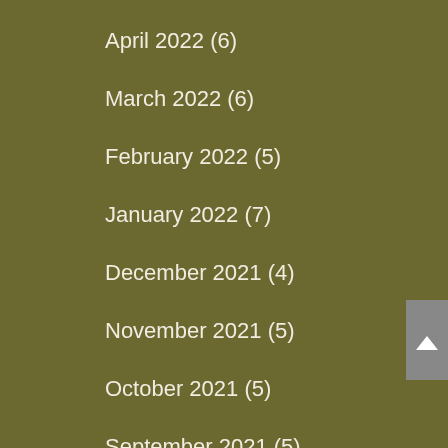April 2022 (6)
March 2022 (6)
February 2022 (5)
January 2022 (7)
December 2021 (4)
November 2021 (5)
October 2021 (5)
September 2021 (5)
August 2021 (6)